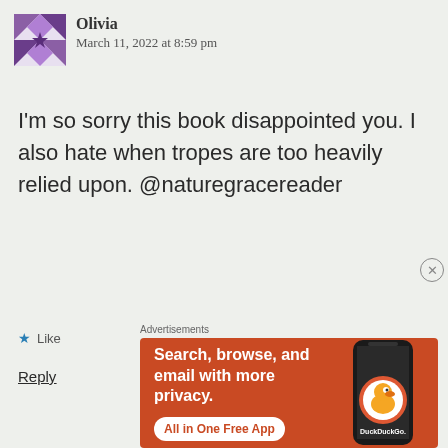Olivia
March 11, 2022 at 8:59 pm
I'm so sorry this book disappointed you. I also hate when tropes are too heavily relied upon. @naturegracereader
★ Like
Reply
Advertisements
[Figure (screenshot): DuckDuckGo advertisement banner with orange background. Text reads: Search, browse, and email with more privacy. All in One Free App. Shows a smartphone with DuckDuckGo logo.]